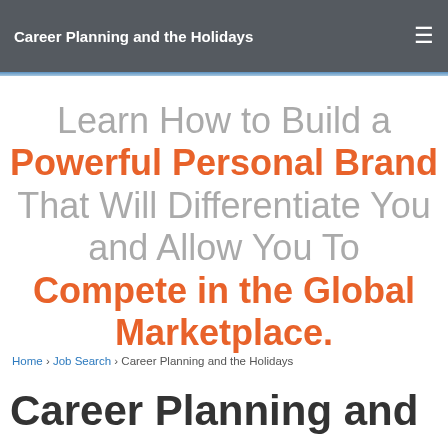Career Planning and the Holidays
Learn How to Build a Powerful Personal Brand That Will Differentiate You and Allow You To Compete in the Global Marketplace.
Home › Job Search › Career Planning and the Holidays
Career Planning and